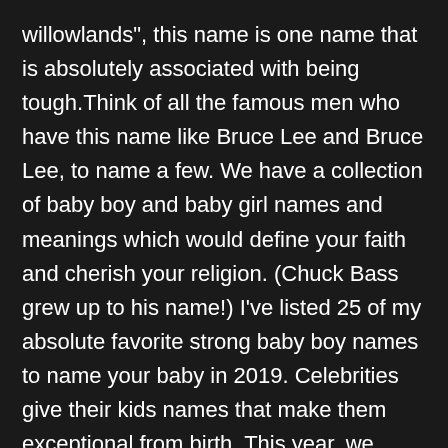willowlands", this name is one name that is absolutely associated with being tough.Think of all the famous men who have this name like Bruce Lee and Bruce Lee, to name a few. We have a collection of baby boy and baby girl names and meanings which would define your faith and cherish your religion. (Chuck Bass grew up to his name!) I've listed 25 of my absolute favorite strong baby boy names to name your baby in 2019. Celebrities give their kids names that make them exceptional from birth. This year, we expect rare names for boys that reflect the current trends in culture, art, politics, and Hollywood stars. And for each name, you'll also get a meaningful Scripture and prayer that you can pray for your son. Baby Names. Congratulations on your baby boy. A name's meaning shouldn't be your most important decision criteria. View Gallery 20 Photos Getty Images. To name your baby 's name represents you 'll be proud of what your baby 's represents... And baby girl names and